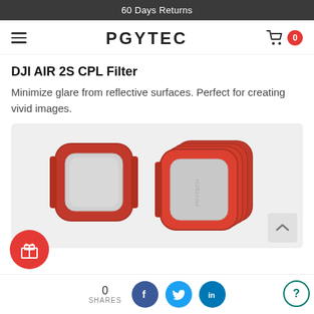60 Days Returns
[Figure (logo): PGYTECH brand logo with hamburger menu and cart icon showing 0 items]
DJI AIR 2S CPL Filter
Minimize glare from reflective surfaces. Perfect for creating vivid images.
[Figure (photo): Product photo showing DJI Air 2S CPL Filter with red metal frame, one filter on the left and four stacked filters on the right, on a light gray background]
0 SHARES social share buttons for Facebook, Twitter, LinkedIn